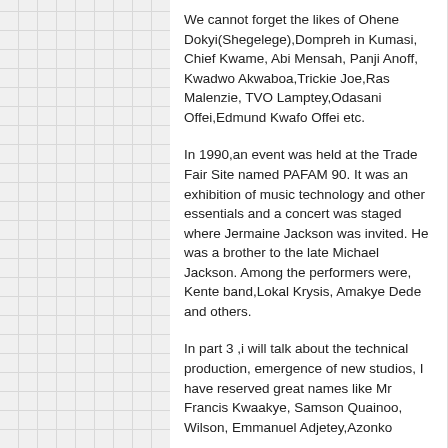We cannot forget the likes of Ohene Dokyi(Shegelege),Dompreh in Kumasi, Chief Kwame, Abi Mensah, Panji Anoff, Kwadwo Akwaboa,Trickie Joe,Ras Malenzie, TVO Lamptey,Odasani Offei,Edmund Kwafo Offei etc.
In 1990,an event was held at the Trade Fair Site named PAFAM 90. It was an exhibition of music technology and other essentials and a concert was staged where Jermaine Jackson was invited. He was a brother to the late Michael Jackson. Among the performers were, Kente band,Lokal Krysis, Amakye Dede and others.
In part 3 ,i will talk about the technical production, emergence of new studios, I have reserved great names like Mr Francis Kwaakye, Samson Quainoo, Wilson, Emmanuel Adjetey,Azonko